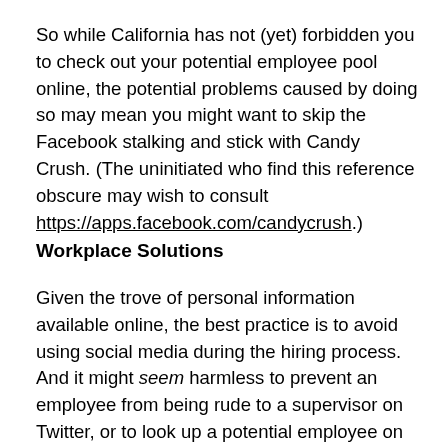So while California has not (yet) forbidden you to check out your potential employee pool online, the potential problems caused by doing so may mean you might want to skip the Facebook stalking and stick with Candy Crush. (The uninitiated who find this reference obscure may wish to consult https://apps.facebook.com/candycrush.)
Workplace Solutions
Given the trove of personal information available online, the best practice is to avoid using social media during the hiring process. And it might seem harmless to prevent an employee from being rude to a supervisor on Twitter, or to look up a potential employee on your Facebook app, in this case what